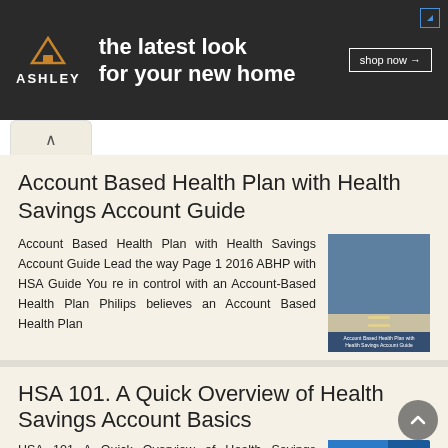[Figure (other): Ashley Furniture advertisement banner: dark background with Ashley logo (orange house icon, white ASHLEY text), tagline 'the latest look for your new home', and 'shop now →' button]
Account Based Health Plan with Health Savings Account Guide
Account Based Health Plan with Health Savings Account Guide Lead the way Page 1 2016 ABHP with HSA Guide You re in control with an Account-Based Health Plan Philips believes an Account Based Health Plan
More information →
HSA 101. A Quick Overview of Health Savings Account Basics
HSA 101 A Quick Overview of Health Savings Account Basics Agenda Health Savings Account Features HSA Eligibility